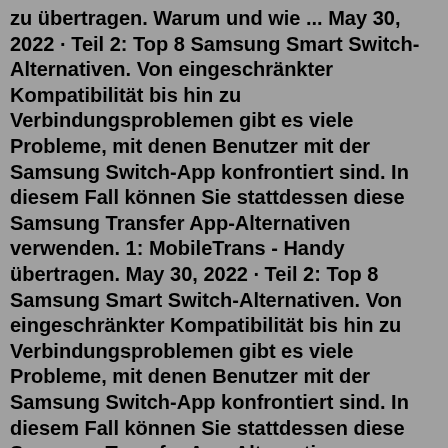zu übertragen. Warum und wie ... May 30, 2022 · Teil 2: Top 8 Samsung Smart Switch-Alternativen. Von eingeschränkter Kompatibilität bis hin zu Verbindungsproblemen gibt es viele Probleme, mit denen Benutzer mit der Samsung Switch-App konfrontiert sind. In diesem Fall können Sie stattdessen diese Samsung Transfer App-Alternativen verwenden. 1: MobileTrans - Handy übertragen. May 30, 2022 · Teil 2: Top 8 Samsung Smart Switch-Alternativen. Von eingeschränkter Kompatibilität bis hin zu Verbindungsproblemen gibt es viele Probleme, mit denen Benutzer mit der Samsung Switch-App konfrontiert sind. In diesem Fall können Sie stattdessen diese Samsung Transfer App-Alternativen verwenden. 1: MobileTrans - Handy übertragen. Die 4 Probleme, die auftreten können, wenn der Smart Switch Mobile nicht funktioniert Problem 1. Kompatibilität Problem 2. Funktionseinschränkung Problem 3. Stabilität Problem 4. Duplizierungszusammenführung Teil 2. Die Lösungen